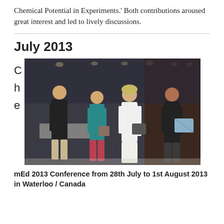Chemical Potential in Experiments.' Both contributions aroused great interest and led to lively discussions.
July 2013
[Figure (photo): Four people standing together at the mEd 2013 Conference venue, holding items, with conference room background including lights and dark curtains.]
mEd 2013 Conference from 28th July to 1st August 2013 in Waterloo / Canada